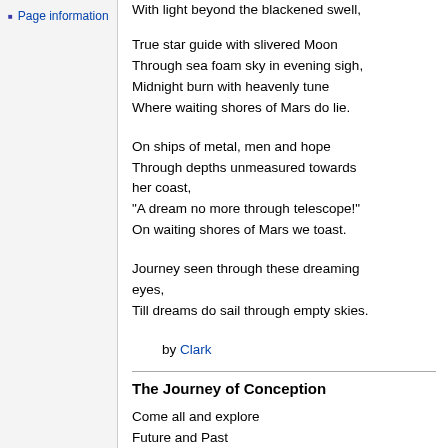Page information
With light beyond the blackened swell,

True star guide with slivered Moon
Through sea foam sky in evening sigh,
Midnight burn with heavenly tune
Where waiting shores of Mars do lie.

On ships of metal, men and hope
Through depths unmeasured towards her coast,
"A dream no more through telescope!"
On waiting shores of Mars we toast.

Journey seen through these dreaming eyes,
Till dreams do sail through empty skies.

by Clark
The Journey of Conception
Come all and explore
Future and Past